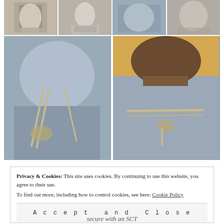[Figure (photo): Grid of 4 small photos at top showing a person bound with rope, close-up views of face and body]
[Figure (photo): Two large photos side by side showing close-up views of rope binding around a person's torso]
Privacy & Cookies: This site uses cookies. By continuing to use this website, you agree to their use.
To find out more, including how to control cookies, see here: Cookie Policy
Accept and Close
secure with an SCT